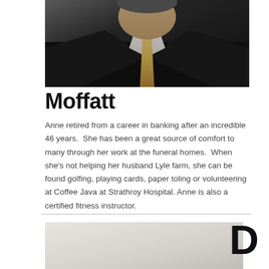[Figure (photo): Portrait photo of a person wearing a dark suit jacket and gold/yellow tie, photographed from roughly chest up against a neutral background.]
Moffatt
Anne retired from a career in banking after an incredible 46 years.  She has been a great source of comfort to many through her work at the funeral homes.  When she's not helping her husband Lyle farm, she can be found golfing, playing cards, paper toling or volunteering at Coffee Java at Strathroy Hospital. Anne is also a certified fitness instructor.
[Figure (photo): Partial portrait photo of another person (only the beginning of name 'Don' visible), light/neutral background.]